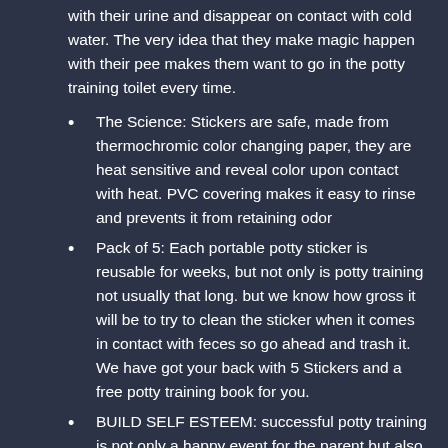with their urine and disappear on contact with cold water. The very idea that they make magic happen with their pee makes them want to go in the potty training toilet every time.
The Science: Stickers are safe, made from thermochromic color changing paper, they are heat sensitive and reveal color upon contact with heat. PVC covering makes it easy to rinse and prevents it from retaining odor
Pack of 5: Each portable potty sticker is reusable for weeks, but not only is potty training not usually that long. but we know how gross it will be to try to clean the sticker when it comes in contact with feces so go ahead and trash it. We have got your back with 5 Stickers and a free potty training book for you.
BUILD SELF ESTEEM: successful potty training is not only a happy event for the parent but also a major accomplishment for your child. They